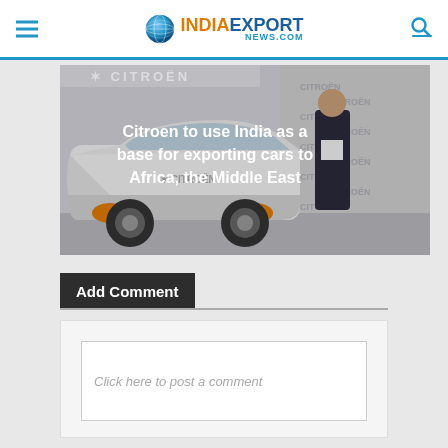INDIAEXPORTNEWS.COM
[Figure (photo): Citroen car displayed with a person standing beside it in front of a Citroen branded backdrop. White and orange SUV. Overlay text: 'Citroen to use India as a base for exporting cars to Africa, the Middle East']
Add Comment
Click here to post a comment